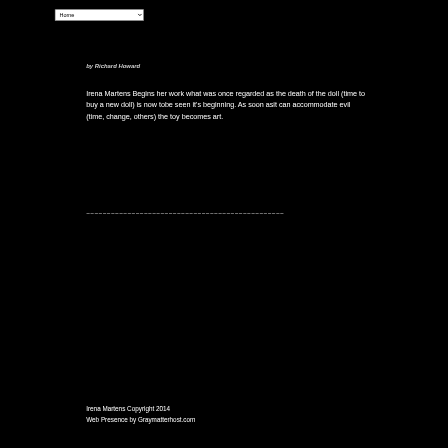Home
by Richard Howard
Irena Martens Begins her work what was once regarded as the death of the doll (time to buy a new doll) is now tobe seen it's beginning. As soon asit can accommodate evil (time, change, others) the toy becomes art.
~~~~~~~~~~~~~~~~~~~~~~~~~~~~~~~~~~~~~~~~~~~~~~~~
Irena Martens Copyright 2014
Web Presence by Graymatterhost.com